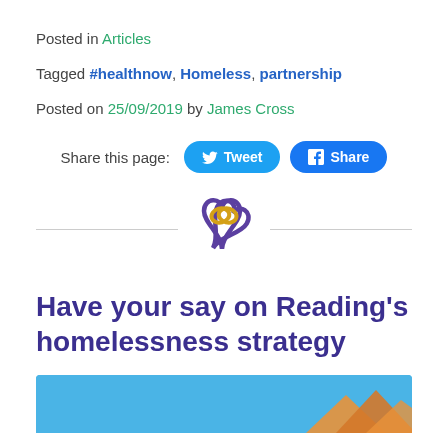Posted in Articles
Tagged #healthnow, Homeless, partnership
Posted on 25/09/2019 by James Cross
Share this page: Tweet Share
[Figure (logo): Purple and gold interlocking hearts logo]
Have your say on Reading's homelessness strategy
[Figure (photo): Partial image with blue sky background and rooftop visible]